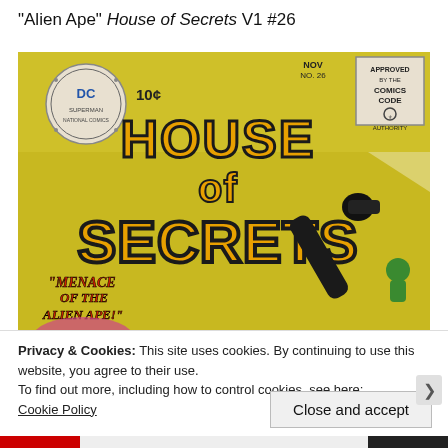"Alien Ape" House of Secrets V1 #26
[Figure (photo): Comic book cover of House of Secrets V1 #26. Yellow background with large stylized text 'House of Secrets'. DC Comics logo top left with '10¢' price. Top right: 'Approved by the Comics Code Authority' stamp. 'NOV NO 26' date. Bottom left: 'Menace of the Alien Ape!' in red/orange lettering. Right side: a cannon-like black alien device and a green alien figure.]
Privacy & Cookies: This site uses cookies. By continuing to use this website, you agree to their use.
To find out more, including how to control cookies, see here:
Cookie Policy
Close and accept